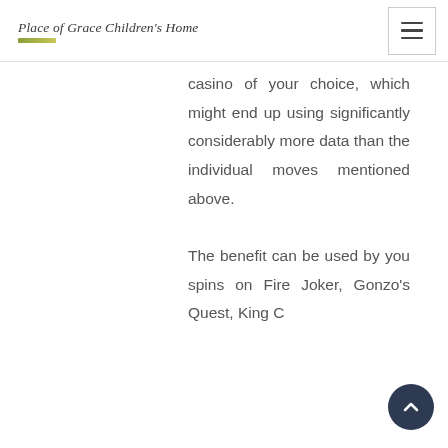Place of Grace Children's Home
casino of your choice, which might end up using significantly considerably more data than the individual moves mentioned above.

The benefit can be used by you spins on Fire Joker, Gonzo's Quest, King C...